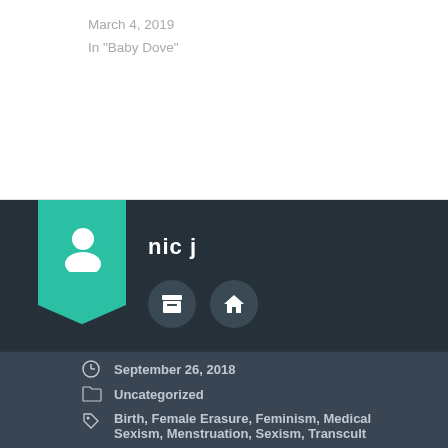March 4, 2019
In "Baby Dove"
[Figure (illustration): Author card with teal ribbon bookmark, user avatar icon, author name 'nic j', and two circular icon buttons (archive and home) on dark background]
September 26, 2018
Uncategorized
Birth, Female Erasure, Feminism, Medical Sexism, Menstruation, Sexism, Transcult
Previous post
Next post